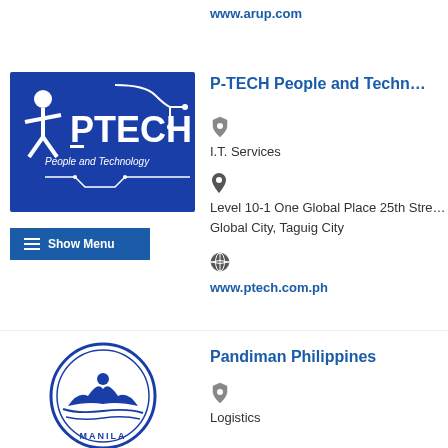www.arup.com
[Figure (logo): P-TECH People and Technology logo on dark blue background]
P-TECH People and Technology
I.T. Services
Level 10-1 One Global Place 25th Street Global City, Taguig City
www.ptech.com.ph
[Figure (logo): Pandiman Philippines circular seal logo with Manila text]
Pandiman Philippines
Logistics
3F PVB Building, Gen. Luna corner St. Manila